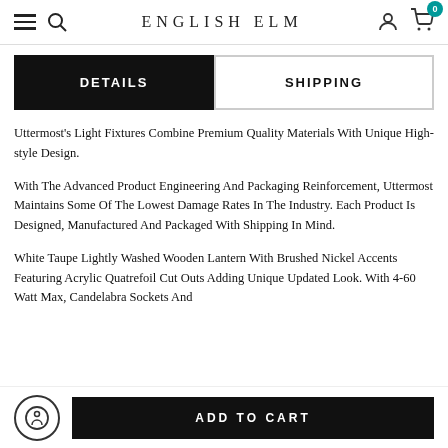ENGLISH ELM
DETAILS | SHIPPING
Uttermost's Light Fixtures Combine Premium Quality Materials With Unique High-style Design.
With The Advanced Product Engineering And Packaging Reinforcement, Uttermost Maintains Some Of The Lowest Damage Rates In The Industry. Each Product Is Designed, Manufactured And Packaged With Shipping In Mind.
White Taupe Lightly Washed Wooden Lantern With Brushed Nickel Accents Featuring Acrylic Quatrefoil Cut Outs Adding Unique Updated Look. With 4-60 Watt Max, Candelabra Sockets And